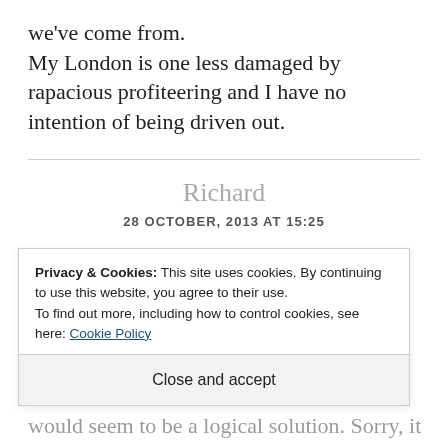we've come from.
My London is one less damaged by rapacious profiteering and I have no intention of being driven out.
Richard
28 OCTOBER, 2013 AT 15:25
Jules I am not a developer but
Privacy & Cookies: This site uses cookies. By continuing to use this website, you agree to their use.
To find out more, including how to control cookies, see here: Cookie Policy
Close and accept
would seem to be a logical solution. Sorry, it